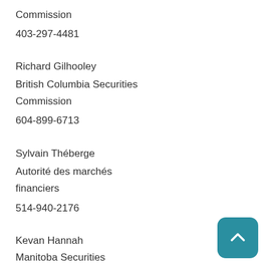Commission
403-297-4481
Richard Gilhooley
British Columbia Securities Commission
604-899-6713
Sylvain Théberge
Autorité des marchés financiers
514-940-2176
Kevan Hannah
Manitoba Securities Commission